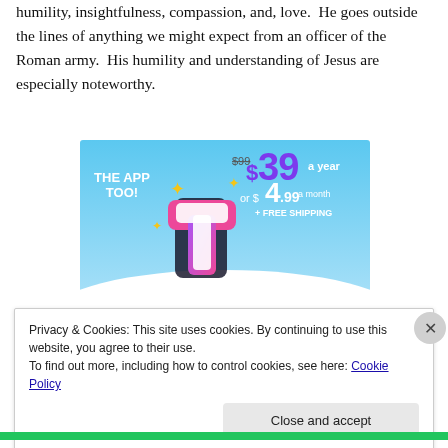humility, insightfulness, compassion, and, love. He goes outside the lines of anything we might expect from an officer of the Roman army. His humility and understanding of Jesus are especially noteworthy.
[Figure (screenshot): Advertisement banner showing a colorful 't' logo (pink and purple) on a blue sky background with sparkles, pricing text showing '$39 a year or $4.99 a month + FREE SHIPPING' and text 'THE APP TOO!']
Privacy & Cookies: This site uses cookies. By continuing to use this website, you agree to their use.
To find out more, including how to control cookies, see here: Cookie Policy
Close and accept